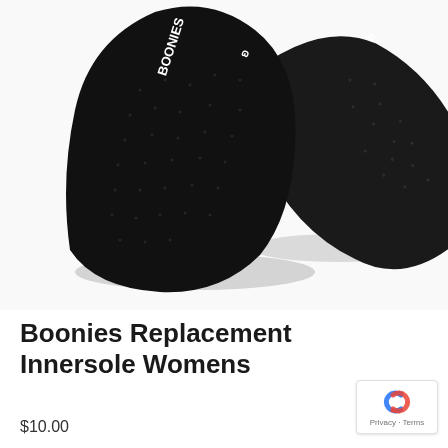[Figure (photo): Two black shoe insoles (innersoles) with BOONIES branding text visible in white, photographed on a white background. The insoles are overlapping, showing the top suede-like surface with small perforations.]
Boonies Replacement Innersole Womens
$10.00